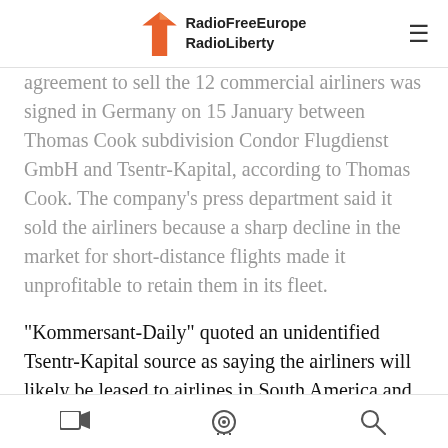RadioFreeEurope RadioLiberty
agreement to sell the 12 commercial airliners was signed in Germany on 15 January between Thomas Cook subdivision Condor Flugdienst GmbH and Tsentr-Kapital, according to Thomas Cook. The company's press department said it sold the airliners because a sharp decline in the market for short-distance flights made it unprofitable to retain them in its fleet.
"Kommersant-Daily" quoted an unidentified Tsentr-Kapital source as saying the airliners will likely be leased to airlines in South America and in Asia. Zenit currently promotes a program for the lease of Tu-214 aircraft -- which are produced by the Kazan Aviation Plant -- that are similar in class
Video · Podcast · Search